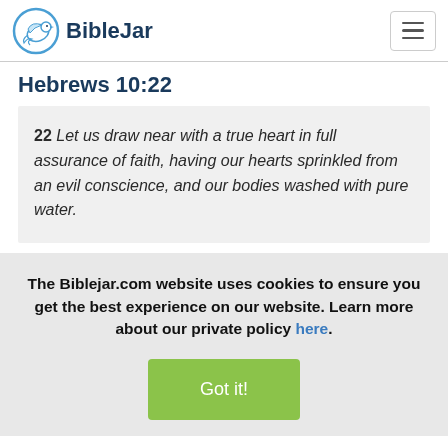BibleJar
Hebrews 10:22
22 Let us draw near with a true heart in full assurance of faith, having our hearts sprinkled from an evil conscience, and our bodies washed with pure water.
The Biblejar.com website uses cookies to ensure you get the best experience on our website. Learn more about our private policy here.
Got it!